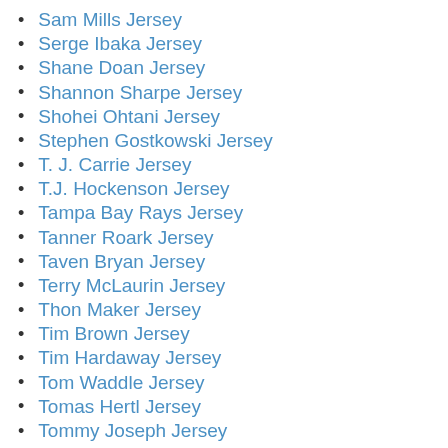Sam Mills Jersey
Serge Ibaka Jersey
Shane Doan Jersey
Shannon Sharpe Jersey
Shohei Ohtani Jersey
Stephen Gostkowski Jersey
T. J. Carrie Jersey
T.J. Hockenson Jersey
Tampa Bay Rays Jersey
Tanner Roark Jersey
Taven Bryan Jersey
Terry McLaurin Jersey
Thon Maker Jersey
Tim Brown Jersey
Tim Hardaway Jersey
Tom Waddle Jersey
Tomas Hertl Jersey
Tommy Joseph Jersey
Tommy Pham Jersey
Tony Gonzalez Jersey